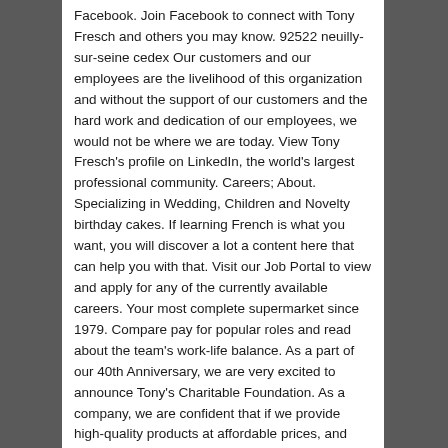Facebook. Join Facebook to connect with Tony Fresch and others you may know. 92522 neuilly-sur-seine cedex Our customers and our employees are the livelihood of this organization and without the support of our customers and the hard work and dedication of our employees, we would not be where we are today. View Tony Fresch's profile on LinkedIn, the world's largest professional community. Careers; About. Specializing in Wedding, Children and Novelty birthday cakes. If learning French is what you want, you will discover a lot a content here that can help you with that. Visit our Job Portal to view and apply for any of the currently available careers. Your most complete supermarket since 1979. Compare pay for popular roles and read about the team's work-life balance. As a part of our 40th Anniversary, we are very excited to announce Tony's Charitable Foundation. As a company, we are confident that if we provide high-quality products at affordable prices, and top-notch customer service, the Tony's Fresh Market family will continue to grow for years to come. Tony Fresher est sur Facebook. Thank you, thank you, thank you, for an amazing 40 years and we hope to serve you, your families, and the communities